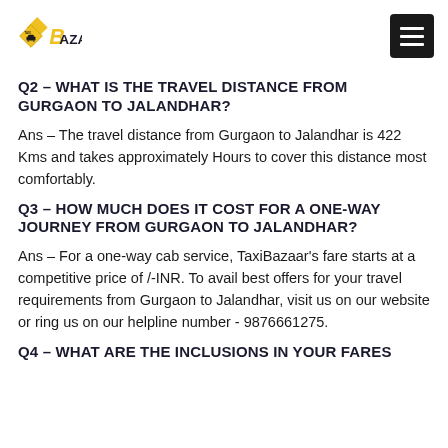[Figure (logo): TaxiBazaar logo with yellow diamond taxi icon and stylized B letter with AZAAR text]
Q2 – WHAT IS THE TRAVEL DISTANCE FROM GURGAON TO JALANDHAR?
Ans – The travel distance from Gurgaon to Jalandhar is 422 Kms and takes approximately Hours to cover this distance most comfortably.
Q3 – HOW MUCH DOES IT COST FOR A ONE-WAY JOURNEY FROM GURGAON TO JALANDHAR?
Ans – For a one-way cab service, TaxiBazaar's fare starts at a competitive price of /-INR. To avail best offers for your travel requirements from Gurgaon to Jalandhar, visit us on our website or ring us on our helpline number - 9876661275.
Q4 – WHAT ARE THE INCLUSIONS IN YOUR FARES